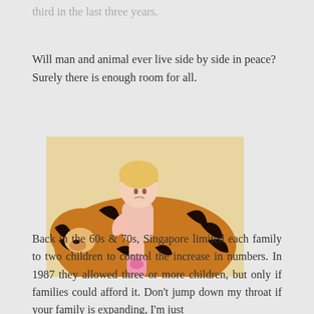third in the last three years.
Will man and animal ever live side by side in peace? Surely there is enough room for all.
[Figure (photo): A young blonde child sitting on top of a large stuffed tiger toy. The child is wearing a pink outfit and appears to be looking down. The background is a warm yellow/cream color.]
Back in the 60s & 70s, Singapore limited each family to two children to control the increase in numbers. In 1987 they allowed three or more children, but only if families could afford it. Don't jump down my throat if your family is expanding, I'm just